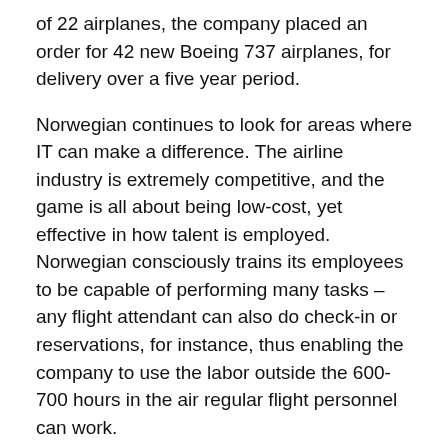of 22 airplanes, the company placed an order for 42 new Boeing 737 airplanes, for delivery over a five year period.
Norwegian continues to look for areas where IT can make a difference. The airline industry is extremely competitive, and the game is all about being low-cost, yet effective in how talent is employed. Norwegian consciously trains its employees to be capable of performing many tasks – any flight attendant can also do check-in or reservations, for instance, thus enabling the company to use the labor outside the 600-700 hours in the air regular flight personnel can work.
For Norwegian, the trick has to flood the company with IT support before anyone has had time to hire people. And as Aanby has put it: In Norwegian, there are really only two employee categories that are paid above market average: